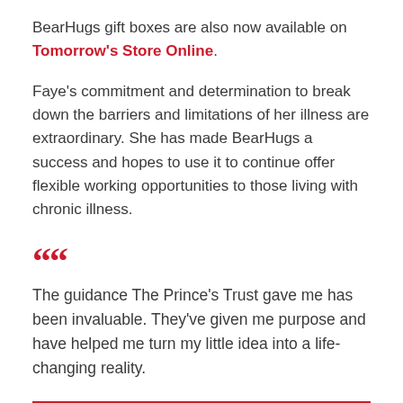BearHugs gift boxes are also now available on Tomorrow's Store Online.
Faye's commitment and determination to break down the barriers and limitations of her illness are extraordinary. She has made BearHugs a success and hopes to use it to continue offer flexible working opportunities to those living with chronic illness.
The guidance The Prince's Trust gave me has been invaluable. They've given me purpose and have helped me turn my little idea into a life-changing reality.